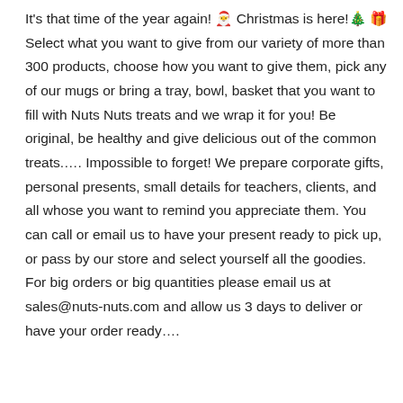It's that time of the year again! 🎅 Christmas is here! 🎄 🎁 Select what you want to give from our variety of more than 300 products, choose how you want to give them, pick any of our mugs or bring a tray, bowl, basket that you want to fill with Nuts Nuts treats and we wrap it for you! Be original, be healthy and give delicious out of the common treats.…. Impossible to forget! We prepare corporate gifts, personal presents, small details for teachers, clients, and all whose you want to remind you appreciate them. You can call or email us to have your present ready to pick up, or pass by our store and select yourself all the goodies. For big orders or big quantities please email us at sales@nuts-nuts.com and allow us 3 days to deliver or have your order ready….